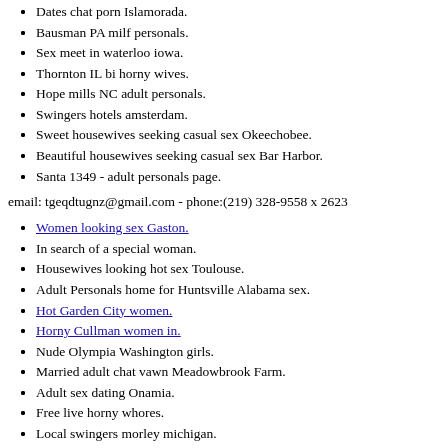Dates chat porn Islamorada.
Bausman PA milf personals.
Sex meet in waterloo iowa.
Thornton IL bi horny wives.
Hope mills NC adult personals.
Swingers hotels amsterdam.
Sweet housewives seeking casual sex Okeechobee.
Beautiful housewives seeking casual sex Bar Harbor.
Santa 1349 - adult personals page.
email: tgeqdtugnz@gmail.com - phone:(219) 328-9558 x 2623
Women looking sex Gaston.
In search of a special woman.
Housewives looking hot sex Toulouse.
Adult Personals home for Huntsville Alabama sex.
Hot Garden City women.
Horny Cullman women in.
Nude Olympia Washington girls.
Married adult chat vawn Meadowbrook Farm.
Adult sex dating Onamia.
Free live horny whores.
Local swingers morley michigan.
Interracial swingers md.
Naughty chatting and emailing.
Nashville fuck buddy.